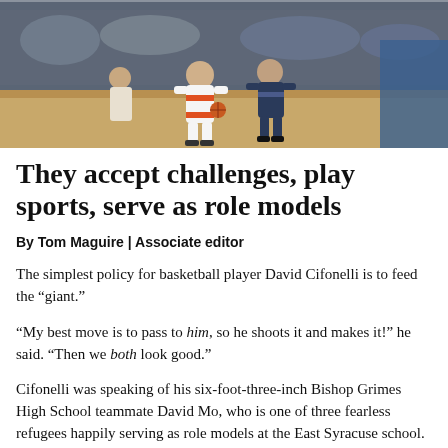[Figure (photo): Basketball players on a court, one player in a white and orange uniform dribbling past a defender in a dark uniform]
They accept challenges, play sports, serve as role models
By Tom Maguire | Associate editor
The simplest policy for basketball player David Cifonelli is to feed the “giant.”
“My best move is to pass to him, so he shoots it and makes it!” he said. “Then we both look good.”
Cifonelli was speaking of his six-foot-three-inch Bishop Grimes High School teammate David Mo, who is one of three fearless refugees happily serving as role models at the East Syracuse school.